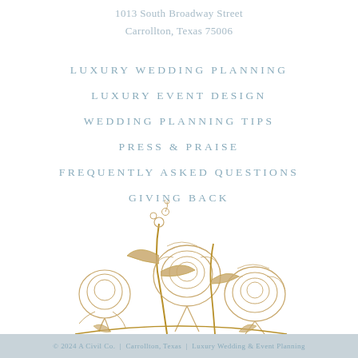1013 South Broadway Street
Carrollton, Texas 75006
LUXURY WEDDING PLANNING
LUXURY EVENT DESIGN
WEDDING PLANNING TIPS
PRESS & PRAISE
FREQUENTLY ASKED QUESTIONS
GIVING BACK
[Figure (illustration): Gold line-art illustration of peonies and floral arrangement]
© 2024 A Civil Co. | Carrollton, Texas | ...